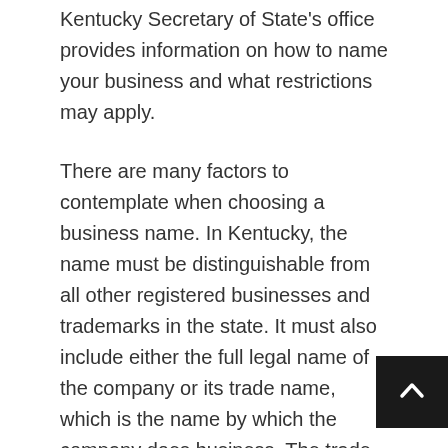Kentucky Secretary of State's office provides information on how to name your business and what restrictions may apply.
There are many factors to contemplate when choosing a business name. In Kentucky, the name must be distinguishable from all other registered businesses and trademarks in the state. It must also include either the full legal name of the company or its trade name, which is the name by which the company does business. The trade name cannot be misleading or deceptive, and it cannot include terms that could confuse customers about the company's location.
Business owners should also be aware of restrictions on certain words and phrases that are protected by state law. For example, Kentucky law prohibits businesses from using terms like "University" or "State" in their names without special permission from the government.